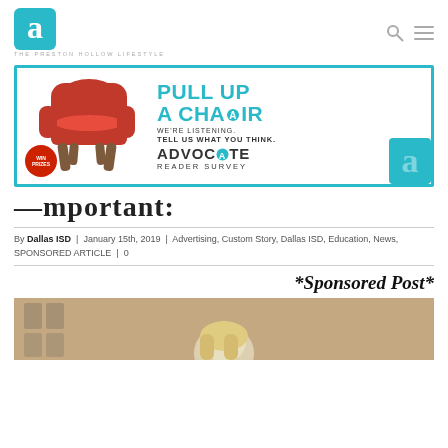THE PRESTON HOLLOW LIFESTYLE (Advocate logo)
[Figure (advertisement): Pull Up A Chair - Advocate Reader Survey ad with red chair image, teal border, Win Prizes badge]
—mportant:
By Dallas ISD | January 15th, 2019 | Advertising, Custom Story, Dallas ISD, Education, News, SPONSORED ARTICLE | 0
*Sponsored Post*
[Figure (photo): Partial photo of a person with blonde hair, outdoor building background]